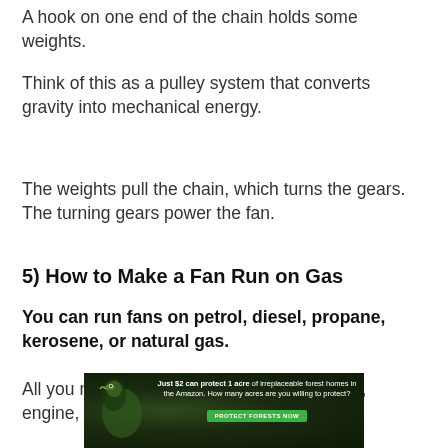A hook on one end of the chain holds some weights.
Think of this as a pulley system that converts gravity into mechanical energy.
The weights pull the chain, which turns the gears. The turning gears power the fan.
5) How to Make a Fan Run on Gas
You can run fans on petrol, diesel, propane, kerosene, or natural gas.
All you need for this method is a gas source, engine,
[Figure (photo): Advertisement banner: 'Just $2 can protect 1 acre of irreplaceable forest homes in the Amazon. How many acres are you willing to protect?' with a green 'Protect Forests Now' button and a forest/bird background image.]